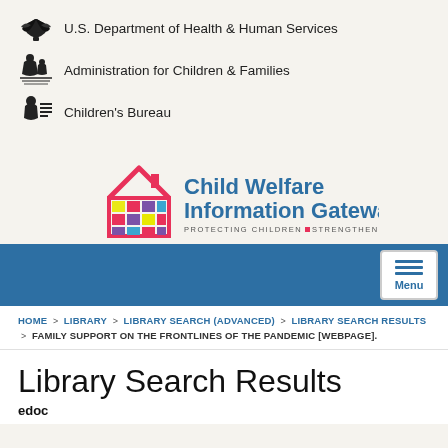[Figure (logo): U.S. Department of Health & Human Services eagle logo with text]
[Figure (logo): Administration for Children & Families logo with text]
[Figure (logo): Children's Bureau logo with text]
[Figure (logo): Child Welfare Information Gateway logo - house with colorful squares, tagline PROTECTING CHILDREN STRENGTHENING FAMILIES]
[Figure (other): Blue navigation bar with Menu button]
HOME > LIBRARY > LIBRARY SEARCH (ADVANCED) > LIBRARY SEARCH RESULTS > FAMILY SUPPORT ON THE FRONTLINES OF THE PANDEMIC [WEBPAGE].
Library Search Results
edoc